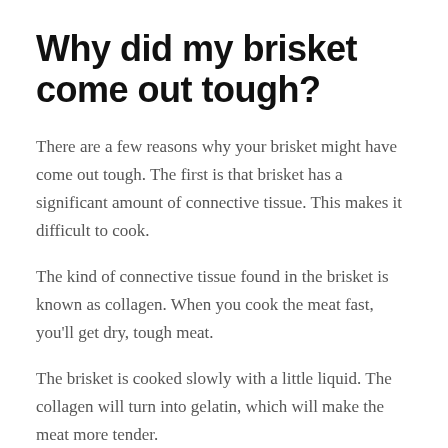Why did my brisket come out tough?
There are a few reasons why your brisket might have come out tough. The first is that brisket has a significant amount of connective tissue. This makes it difficult to cook.
The kind of connective tissue found in the brisket is known as collagen. When you cook the meat fast, you'll get dry, tough meat.
The brisket is cooked slowly with a little liquid. The collagen will turn into gelatin, which will make the meat more tender.
Another reason why your brisket might have been tough is that you didn't let it rest after cooking.
Resting allows the juices to redistribute evenly throughout the meat, making it more moist and tender.